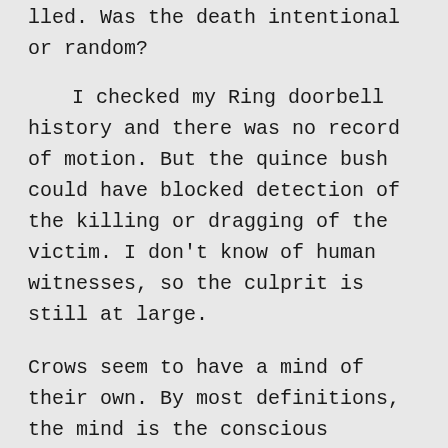lled. Was the death intentional or random?
I checked my Ring doorbell history and there was no record of motion. But the quince bush could have blocked detection of the killing or dragging of the victim. I don't know of human witnesses, so the culprit is still at large.
Crows seem to have a mind of their own. By most definitions, the mind is the conscious product of firing neurons. At least one study found that crows know what they know and can ponder the content of their own minds